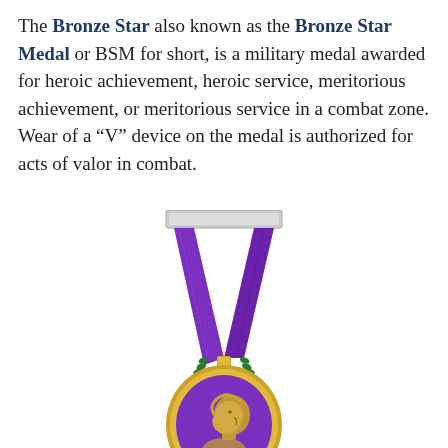The Bronze Star also known as the Bronze Star Medal or BSM for short, is a military medal awarded for heroic achievement, heroic service, meritorious achievement, or meritorious service in a combat zone. Wear of a “V” device on the medal is authorized for acts of valor in combat.
[Figure (illustration): Purple Heart medal with purple ribbon draped from a silver bar clasp. The ribbon forms a V-shape to a gold oval frame. Inside the frame is a purple field with a profile bust of George Washington in gold. Above the frame is a gold and enamel shield with three red stars and red/white stripes, flanked by green laurel branches.]